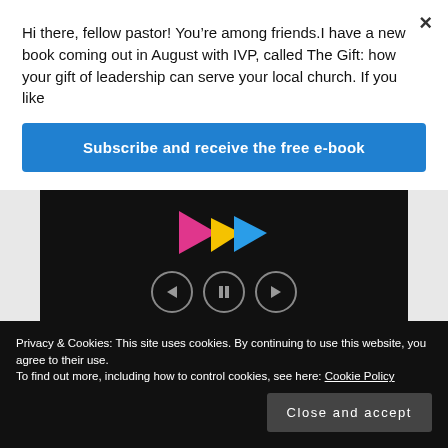Hi there, fellow pastor! You’re among friends.I have a new book coming out in August with IVP, called The Gift: how your gift of leadership can serve your local church. If you like
Subscribe and receive the free e-book
[Figure (screenshot): Video player with colorful play button logo (pink, yellow, blue arrows), playback controls (back, pause, forward), and URL text: thegoodbook.com/from-now-on]
Privacy & Cookies: This site uses cookies. By continuing to use this website, you agree to their use.
To find out more, including how to control cookies, see here: Cookie Policy
Close and accept